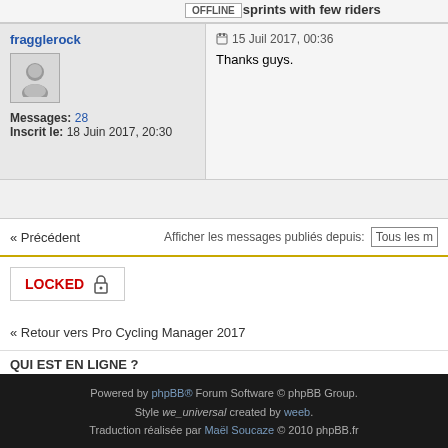Re: [AI] sprints with few riders
fragglerock
15 Juil 2017, 00:36
Thanks guys.
Messages: 28
Inscrit le: 18 Juin 2017, 20:30
« Précédent    Afficher les messages publiés depuis: Tous les m
LOCKED
« Retour vers Pro Cycling Manager 2017
QUI EST EN LIGNE ?
Utilisateur(s) parcourant actuellement ce forum : Aucun utilisateur inscrit et 2 invité(s)
Powered by phpBB® Forum Software © phpBB Group. Style we_universal created by weeb. Traduction réalisée par Maël Soucaze © 2010 phpBB.fr